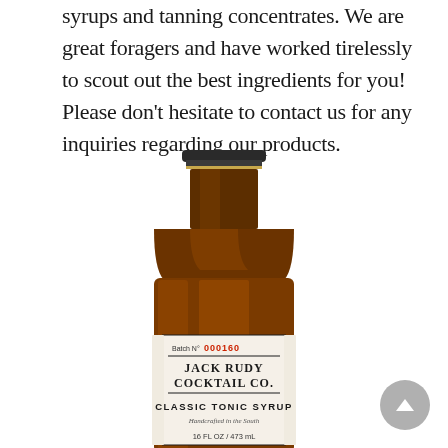syrups and tanning concentrates. We are great foragers and have worked tirelessly to scout out the best ingredients for you! Please don't hesitate to contact us for any inquiries regarding our products.
[Figure (photo): A brown glass bottle of Jack Rudy Cocktail Co. Classic Tonic Syrup with a white label showing Batch No 000160, 16 FL OZ / 473 mL, Handcrafted in the South]